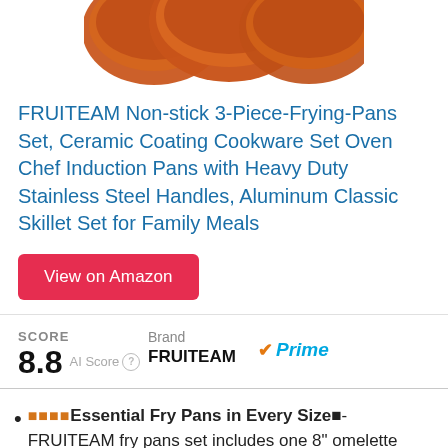[Figure (photo): Partial view of orange/terracotta ceramic frying pans from above, cropped at top of page]
FRUITEAM Non-stick 3-Piece-Frying-Pans Set, Ceramic Coating Cookware Set Oven Chef Induction Pans with Heavy Duty Stainless Steel Handles, Aluminum Classic Skillet Set for Family Meals
View on Amazon
SCORE 8.8 AI Score | Brand FRUITEAM | Prime
🟧🟧🟧🟧Essential Fry Pans in Every Size🟧- FRUITEAM fry pans set includes one 8" omelette pan, one 9.5" frying pan and one 11" skillet. This complete set is durable and lightweight, which makes cooking more comfortable, meeting your